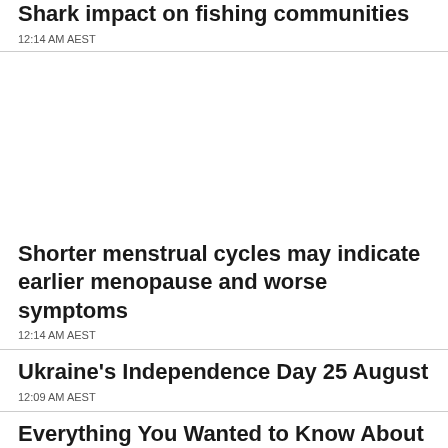Shark impact on fishing communities
12:14 AM AEST
Shorter menstrual cycles may indicate earlier menopause and worse symptoms
12:14 AM AEST
Ukraine's Independence Day 25 August
12:09 AM AEST
Everything You Wanted to Know About Bees